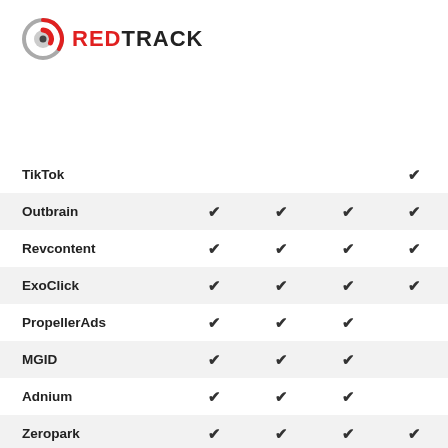[Figure (logo): RedTrack logo: circular icon (grey/red) and text REDTRACK in black and red]
|  |  |  |  |  |
| --- | --- | --- | --- | --- |
| TikTok |  |  |  | ✔ |
| Outbrain | ✔ | ✔ | ✔ | ✔ |
| Revcontent | ✔ | ✔ | ✔ | ✔ |
| ExoClick | ✔ | ✔ | ✔ | ✔ |
| PropellerAds | ✔ | ✔ | ✔ |  |
| MGID | ✔ | ✔ | ✔ |  |
| Adnium | ✔ | ✔ | ✔ |  |
| Zeropark | ✔ | ✔ | ✔ | ✔ |
| Taboola | ✔ | ✔ | ✔ | ✔ |
| TrafficJunky | ✔ |  | ✔ | ✔ |